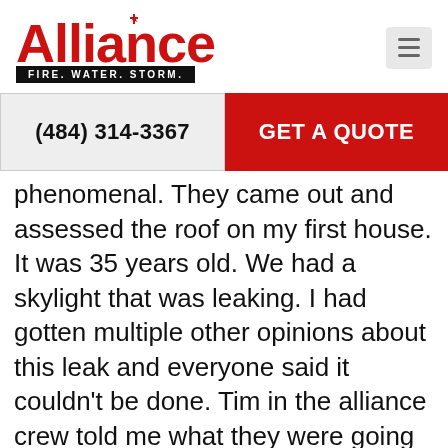[Figure (logo): Alliance Fire. Water. Storm. logo in red with tagline bar]
[Figure (other): Hamburger menu button icon (three horizontal lines)]
(484) 314-3367
GET A QUOTE
phenomenal. They came out and assessed the roof on my first house. It was 35 years old. We had a skylight that was leaking. I had gotten multiple other opinions about this leak and everyone said it couldn't be done. Tim in the alliance crew told me what they were going to do, showed up on time, for filled what they said they were going to do. And